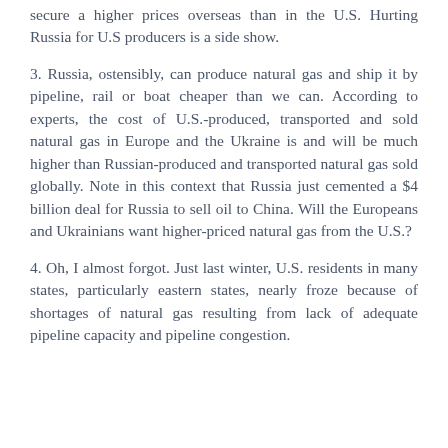secure a higher prices overseas than in the U.S. Hurting Russia for U.S producers is a side show.
3. Russia, ostensibly, can produce natural gas and ship it by pipeline, rail or boat cheaper than we can. According to experts, the cost of U.S.-produced, transported and sold natural gas in Europe and the Ukraine is and will be much higher than Russian-produced and transported natural gas sold globally. Note in this context that Russia just cemented a $4 billion deal for Russia to sell oil to China. Will the Europeans and Ukrainians want higher-priced natural gas from the U.S.?
4. Oh, I almost forgot. Just last winter, U.S. residents in many states, particularly eastern states, nearly froze because of shortages of natural gas resulting from lack of adequate pipeline capacity and pipeline congestion.